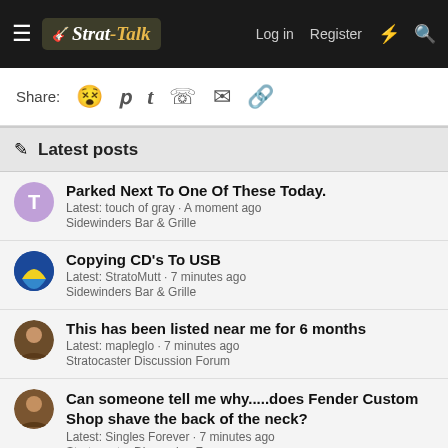Strat-Talk | Log in | Register
Share:
Latest posts
Parked Next To One Of These Today. Latest: touch of gray · A moment ago Sidewinders Bar & Grille
Copying CD's To USB Latest: StratoMutt · 7 minutes ago Sidewinders Bar & Grille
This has been listed near me for 6 months Latest: mapleglo · 7 minutes ago Stratocaster Discussion Forum
Can someone tell me why.....does Fender Custom Shop shave the back of the neck? Latest: Singles Forever · 7 minutes ago Stratocaster Discussion Forum
The one guitar that turns your crank… (one of these days